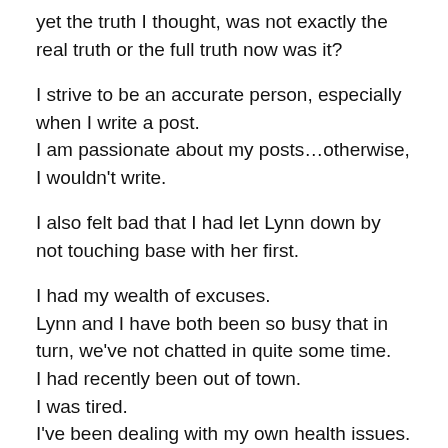yet the truth I thought, was not exactly the real truth or the full truth now was it?
I strive to be an accurate person, especially when I write a post.
I am passionate about my posts…otherwise, I wouldn't write.
I also felt bad that I had let Lynn down by not touching base with her first.
I had my wealth of excuses.
Lynn and I have both been so busy that in turn, we've not chatted in quite some time.
I had recently been out of town.
I was tired.
I've been dealing with my own health issues.